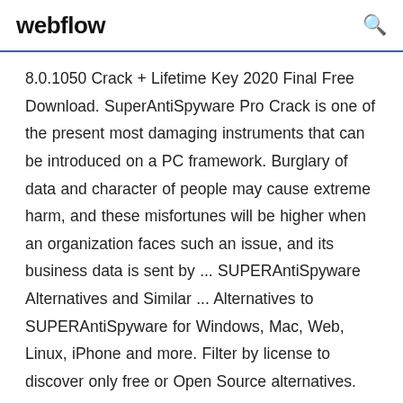webflow
8.0.1050 Crack + Lifetime Key 2020 Final Free Download. SuperAntiSpyware Pro Crack is one of the present most damaging instruments that can be introduced on a PC framework. Burglary of data and character of people may cause extreme harm, and these misfortunes will be higher when an organization faces such an issue, and its business data is sent by ... SUPERAntiSpyware Alternatives and Similar ... Alternatives to SUPERAntiSpyware for Windows, Mac, Web, Linux, iPhone and more. Filter by license to discover only free or Open Source alternatives. This list contains a total of 25+ apps similar to SUPERAntiSpyware. List